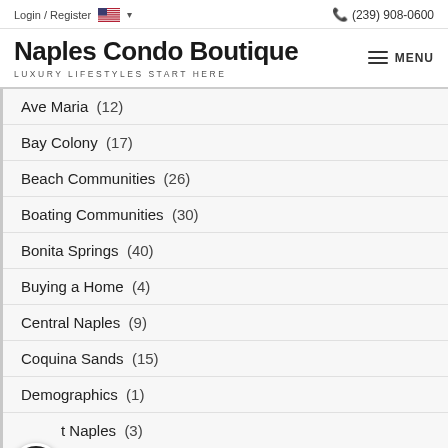Login / Register  (239) 908-0600
Naples Condo Boutique
LUXURY LIFESTYLES START HERE
Ave Maria  (12)
Bay Colony  (17)
Beach Communities  (26)
Boating Communities  (30)
Bonita Springs  (40)
Buying a Home  (4)
Central Naples  (9)
Coquina Sands  (15)
Demographics  (1)
t Naples  (3)
Estero  (11)